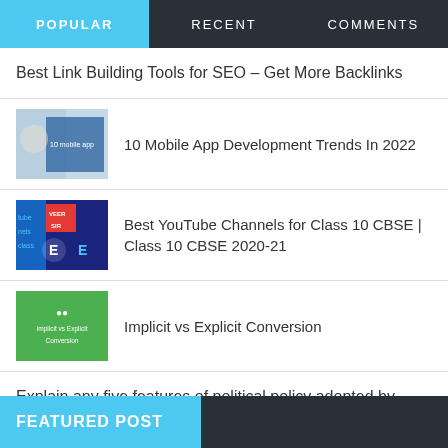POPULAR | RECENT | COMMENTS
Best Link Building Tools for SEO – Get More Backlinks
[Figure (photo): Thumbnail image for 10 Mobile App Development Trends article]
10 Mobile App Development Trends In 2022
[Figure (photo): Thumbnail image for Best YouTube Channels for Class 10 CBSE article with colorful YouTube channel logos]
Best YouTube Channels for Class 10 CBSE | Class 10 CBSE 2020-21
[Figure (photo): Thumbnail green image for Implicit vs Explicit Conversion]
Implicit vs Explicit Conversion
Explain any five features of political policy adopted by Hitler after coming to power in 1933
FEATURED POST